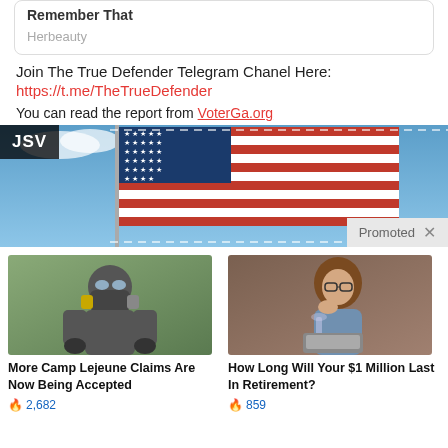Remember That
Herbeauty
Join The True Defender Telegram Chanel Here:
https://t.me/TheTrueDefender
You can read the report from VoterGa.org
[Figure (photo): American flag waving against a blue sky, with JSV badge overlay and Promoted label]
[Figure (photo): Person in hazmat suit with gas mask]
More Camp Lejeune Claims Are Now Being Accepted
🔥 2,682
[Figure (photo): Woman with glasses looking thoughtful, holding a wine glass near a laptop]
How Long Will Your $1 Million Last In Retirement?
🔥 859